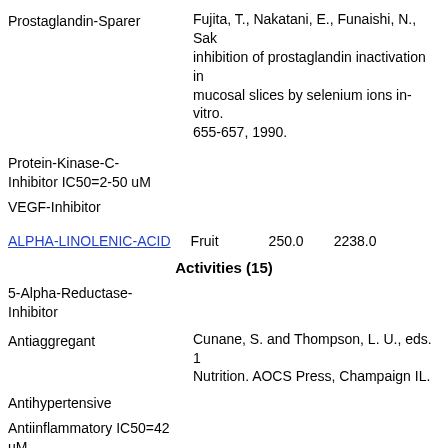Prostaglandin-Sparer
Fujita, T., Nakatani, E., Funaishi, N., Sak inhibition of prostaglandin inactivation in mucosal slices by selenium ions in-vitro. 655-657, 1990.
Protein-Kinase-C-Inhibitor IC50=2-50 uM
VEGF-Inhibitor
ALPHA-LINOLENIC-ACID   Fruit   250.0   2238.0
Activities (15)
5-Alpha-Reductase-Inhibitor
Antiaggregant
Cunane, S. and Thompson, L. U., eds. 1 Nutrition. AOCS Press, Champaign IL.
Antihypertensive
Antiinflammatory IC50=42 uM
Antileukotriene-D4 IC50=42 uM
Antimenorrhagic
Pizzorno, J.E. and Murray, M.T. 1985. A Medicine. John Bastyr College Publicat